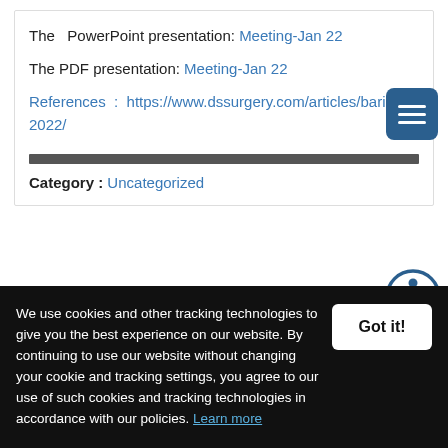The PowerPoint presentation: Meeting-Jan 22
The PDF presentation: Meeting-Jan 22
References : https://www.dssurgery.com/articles/baria... 2022/
Category : Uncategorized
Elective Surgery and Anesthesia for Patients
We use cookies and other tracking technologies to give you the best experience on our website. By continuing to use our website without changing your cookie and tracking settings, you agree to our use of such cookies and tracking technologies in accordance with our policies. Learn more